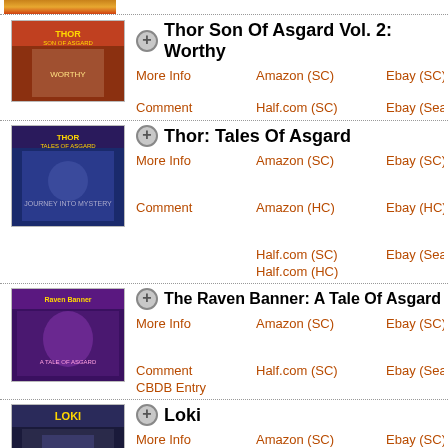[Figure (illustration): Partial comic book cover visible at top of page (cropped)]
Thor Son Of Asgard Vol. 2: Worthy
More Info | Amazon (SC) | Ebay (SC) | Thor: Son Of Asg...
Comment | Half.com (SC) | Ebay (Search)
Thor: Tales Of Asgard
More Info | Amazon (SC) | Ebay (SC) | Journey Into Myst...
Comment | Amazon (HC) | Ebay (HC) | Thor 126-145
Half.com (SC) | Ebay (Search)
Half.com (HC)
The Raven Banner: A Tale Of Asgard
More Info | Amazon (SC) | Ebay (SC) | Original Graphic N...
Comment | Half.com (SC) | Ebay (Search)
CBDB Entry
Loki
More Info | Amazon (SC) | Ebay (SC) | Loki 1-4
Comment | Amazon (HC) | Ebay (HC)
Half.com (SC) | Ebay (Search)
Half.com (HC)
Thor And Loki: Blood Brothers
More Info | Amazon (HC) | Ebay (HC) | Lo...